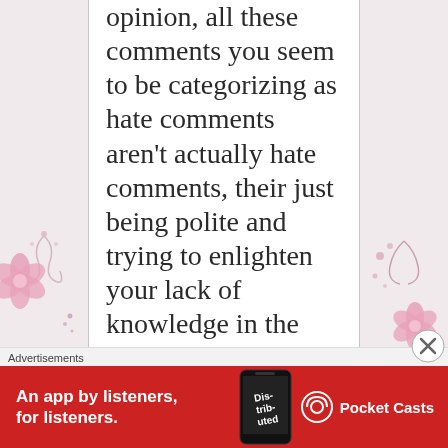[Figure (illustration): Floral decorative pink flower and swirl pattern on left sidebar]
[Figure (illustration): Floral decorative pink flower and swirl pattern on right sidebar]
opinion, all these comments you seem to be categorizing as hate comments aren't actually hate comments, their just being polite and trying to enlighten your lack of knowledge in the religion you claim to
Advertisements
[Figure (screenshot): Red advertisement banner for Pocket Casts app: 'An app by listeners, for listeners.' with phone image showing 'Distributed' and Pocket Casts logo]